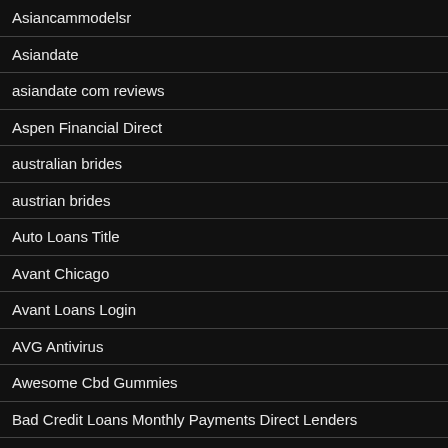Asiancammodelsr
Asiandate
asiandate com reviews
Aspen Financial Direct
australian brides
austrian brides
Auto Loans Title
Avant Chicago
Avant Loans Login
AVG Antivirus
Awesome Cbd Gummies
Bad Credit Loans Monthly Payments Direct Lenders
Bad Credit Loans Online